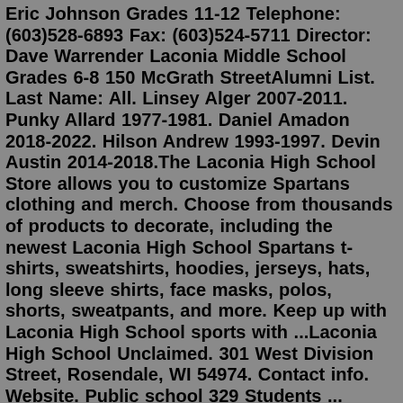Eric Johnson Grades 11-12 Telephone: (603)528-6893 Fax: (603)524-5711 Director: Dave Warrender Laconia Middle School Grades 6-8 150 McGrath StreetAlumni List. Last Name: All. Linsey Alger 2007-2011. Punky Allard 1977-1981. Daniel Amadon 2018-2022. Hilson Andrew 1993-1997. Devin Austin 2014-2018.The Laconia High School Store allows you to customize Spartans clothing and merch. Choose from thousands of products to decorate, including the newest Laconia High School Spartans t-shirts, sweatshirts, hoodies, jerseys, hats, long sleeve shirts, face masks, polos, shorts, sweatpants, and more. Keep up with Laconia High School sports with ...Laconia High School Unclaimed. 301 West Division Street, Rosendale, WI 54974. Contact info. Website. Public school 329 Students ... Programs Adult Education & Literacy Activities HiSET Preparation HiSET Testing Adult Diploma Program Contact Chris Ennis (603) 524-5712cennis@laconischools.org Location Laconia Adult Education 345 Union Avenue Laconia, NH 03246Superintendent Steve Tucker 39 Harvard Street